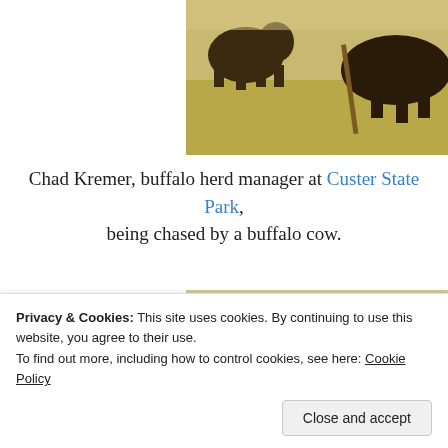[Figure (photo): Partial view of buffalo (bison) running in a dry grassy field — top portion of image, cropped at top of page]
Chad Kremer, buffalo herd manager at Custer State Park, being chased by a buffalo cow.
[Figure (photo): Three riders on horseback in an open grassy field with a forested hill in the background; photobucket watermark visible]
Privacy & Cookies: This site uses cookies. By continuing to use this website, you agree to their use.
To find out more, including how to control cookies, see here: Cookie Policy
Close and accept